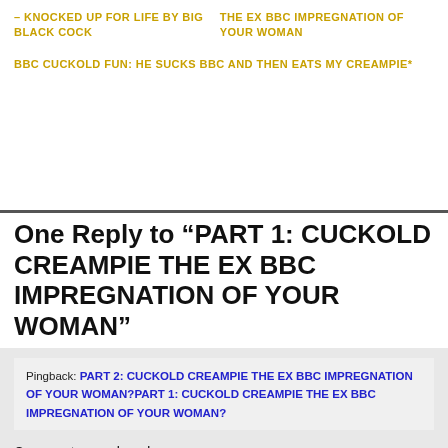– KNOCKED UP FOR LIFE BY BIG BLACK COCK
THE EX BBC IMPREGNATION OF YOUR WOMAN
BBC CUCKOLD FUN: HE SUCKS BBC AND THEN EATS MY CREAMPIE*
One Reply to “PART 1: CUCKOLD CREAMPIE THE EX BBC IMPREGNATION OF YOUR WOMAN”
Pingback: PART 2: CUCKOLD CREAMPIE THE EX BBC IMPREGNATION OF YOUR WOMAN?PART 1: CUCKOLD CREAMPIE THE EX BBC IMPREGNATION OF YOUR WOMAN?
Comments are closed.